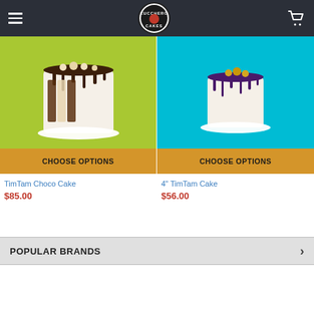[Figure (screenshot): Zucchero Cakes website header with hamburger menu, logo, and cart icon]
[Figure (photo): TimTam Choco Cake - tall white cake with chocolate drip and TimTam decorations on green background]
CHOOSE OPTIONS
TimTam Choco Cake
$85.00
[Figure (photo): 4 inch TimTam Cake - small white cake with purple/dark chocolate drip on cyan background]
CHOOSE OPTIONS
4" TimTam Cake
$56.00
POPULAR BRANDS